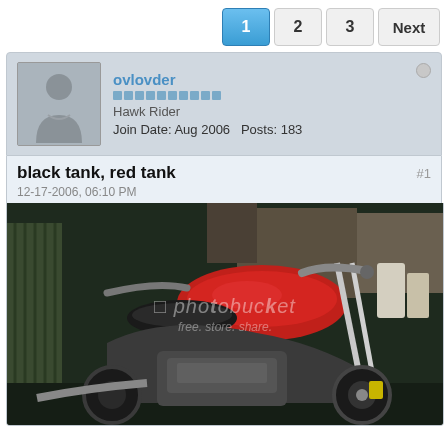1 2 3 Next
[Figure (photo): Forum post header with user avatar placeholder (silhouette), username 'ovlovder', rank 'Hawk Rider', Join Date Aug 2006, Posts 183]
black tank, red tank
12-17-2006, 06:10 PM
#1
[Figure (photo): Photograph of a red-tanked motorcycle (Honda Hawk/NT650) in a garage/workshop setting with a photobucket watermark overlay]